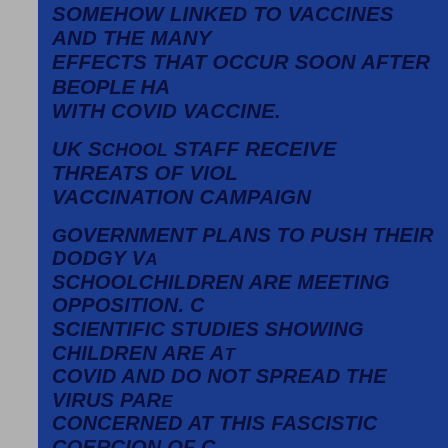SOMEHOW LINKED TO VACCINES AND THE MANY EFFECTS THAT OCCUR SOON AFTER BEOPLE HA WITH COVID VACCINE.
UK SCHOOL STAFF RECEIVE THREATS OF VIOLENCE VACCINATION CAMPAIGN
GOVERNMENT PLANS TO PUSH THEIR DODGY VACCINES ON SCHOOLCHILDREN ARE MEETING OPPOSITION. CITING SCIENTIFIC STUDIES SHOWING CHILDREN ARE AT LOW RISK FROM COVID AND DO NOT SPREAD THE VIRUS PARENTS WHO ARE CONCERNED AT THIS FASCISTIC COERCION OF CHILDREN INTO AN EXPERIMENTAL MEDICATION ARE REACTING IN THE BEST WAY THEY CAN.
ARE VACCINES THE NEW MESSIAH OR ARE...
THROUGHOUT THE PANDEMIC OF 2020, 21 W...